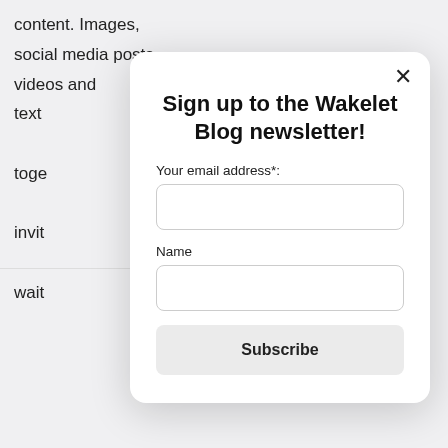content. Images, social media posts, videos and text toge invit wait
Sign up to the Wakelet Blog newsletter!
Your email address*:
Name
Subscribe